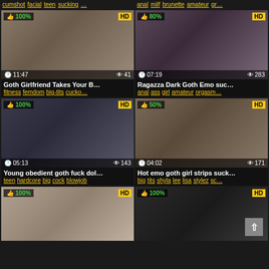cumshot facial teen sucking … | anal milf brunette amateur gr…
[Figure (screenshot): Video thumbnail grid showing adult video website with 6 thumbnails, HD badges, like percentages, view counts, durations, titles and tags]
Goth Girlfriend Takes Your B…
fitness femdom big-tits cucko…
Ragazza Dark Goth Emo suc…
anal ass girl amateur orgasm…
Young obedient goth fuck dol…
teen hardcore big cock blowjob
Hot emo goth girl strips suck…
big tits shyla lee lisa stylez sc…